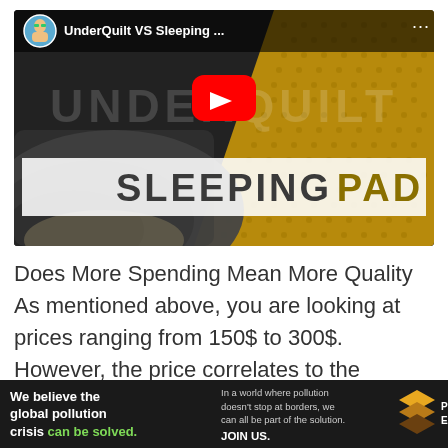[Figure (screenshot): YouTube video thumbnail showing 'UnderQuilt VS Sleeping...' with UNDERQUILT and SLEEPING PAD text overlay, red play button, sleeping bag and yellow foam pad visible]
Does More Spending Mean More Quality As mentioned above, you are looking at prices ranging from 150$ to 300$. However, the price correlates to the material. Ripstop nylon, Ripstop polyester, Polyester, Down,
[Figure (infographic): Pure Earth advertisement banner: 'We believe the global pollution crisis can be solved.' with text about pollution not stopping at borders and JOIN US call to action, with Pure Earth logo]